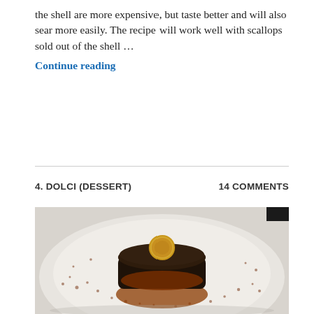the shell are more expensive, but taste better and will also sear more easily. The recipe will work well with scallops sold out of the shell … Continue reading
4. DOLCI (DESSERT)    14 COMMENTS
[Figure (photo): A dark chocolate molten lava cake topped with a small round golden biscuit/cookie, sitting in a caramel or chocolate sauce on a white plate, dusted with cocoa powder.]